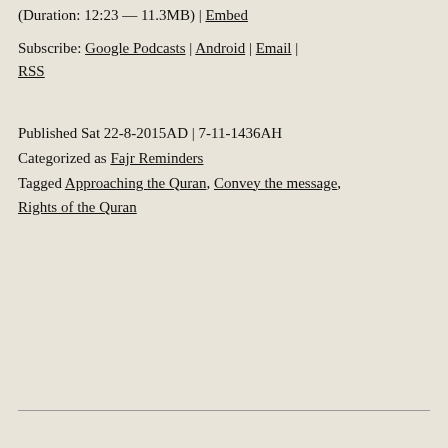(Duration: 12:23 — 11.3MB) | Embed
Subscribe: Google Podcasts | Android | Email | RSS
Published Sat 22-8-2015AD | 7-11-1436AH
Categorized as Fajr Reminders
Tagged Approaching the Quran, Convey the message, Rights of the Quran